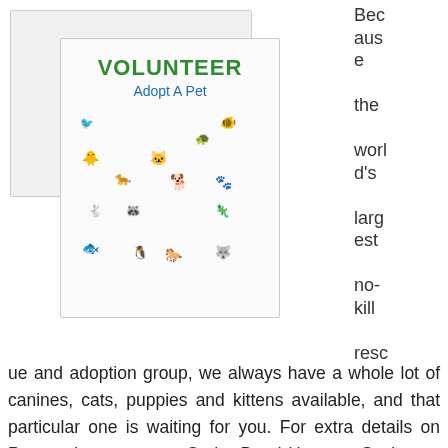[Figure (illustration): A greeting card showing 'VOLUNTEER Adopt A Pet' text with illustrations of various animals (dogs, cats, birds, fish, horses, etc.), placed over an envelope background.]
Because the world's largest no-kill rescue and adoption group, we always have a whole lot of canines, cats, puppies and kittens available, and that particular one is waiting for you. For extra details on Poppy please contact Cedar Bend Humane Society at (319)232-6887. 7. Because all pets are good on your well being, but